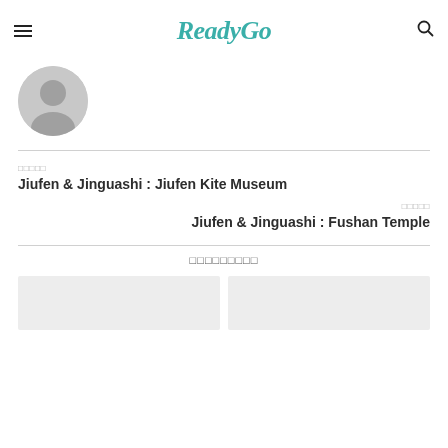ReadyGo
[Figure (illustration): Gray circular avatar/profile placeholder image]
□□□□□
Jiufen & Jinguashi : Jiufen Kite Museum
□□□□□
Jiufen & Jinguashi : Fushan Temple
□□□□□□□□□
[Figure (photo): Gray placeholder thumbnail image (left)]
[Figure (photo): Gray placeholder thumbnail image (right)]